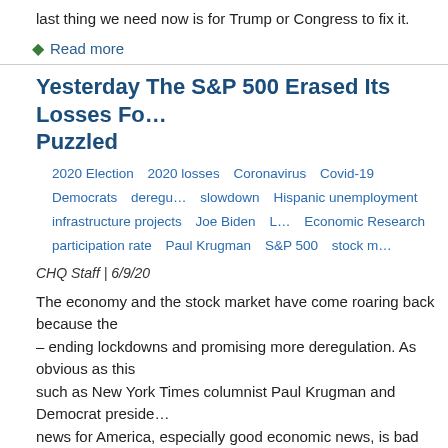last thing we need now is for Trump or Congress to fix it.
Read more
Yesterday The S&P 500 Erased Its Losses For... Puzzled
2020 Election   2020 losses   Coronavirus   Covid-19   Democrats   deregu... slowdown   Hispanic unemployment   infrastructure projects   Joe Biden   L... Economic Research   participation rate   Paul Krugman   S&P 500   stock m...
CHQ Staff | 6/9/20
The economy and the stock market have come roaring back because the – ending lockdowns and promising more deregulation. As obvious as this such as New York Times columnist Paul Krugman and Democrat preside news for America, especially good economic news, is bad news for Demo downplay the good news.
Login or register to post comments   Read more   Sha...
Conservative Leaders: The Senate Must Swif... Vought As OMB Director
Confirmation Hearing   deregulation   Director   economic growth   June 2n...